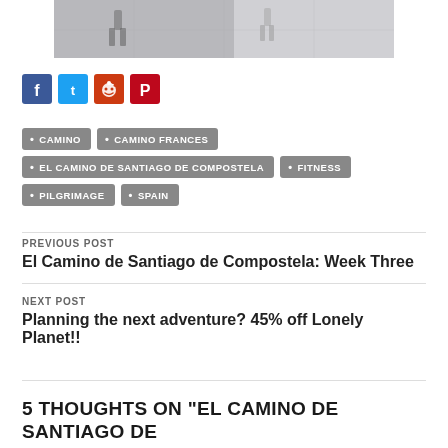[Figure (photo): Cropped photo showing legs/feet of a person walking on stone pavement]
[Figure (infographic): Social media share icons: Facebook (blue), Twitter (blue), Reddit (orange-red), Pinterest (red)]
CAMINO
CAMINO FRANCES
EL CAMINO DE SANTIAGO DE COMPOSTELA
FITNESS
PILGRIMAGE
SPAIN
PREVIOUS POST
El Camino de Santiago de Compostela: Week Three
NEXT POST
Planning the next adventure? 45% off Lonely Planet!!
5 THOUGHTS ON “EL CAMINO DE SANTIAGO DE